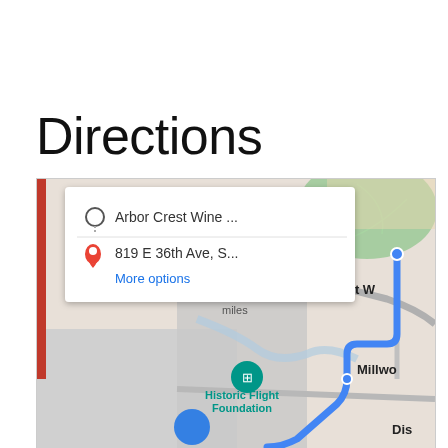Directions
[Figure (map): Google Maps screenshot showing directions from Arbor Crest Wine... to 819 E 36th Ave, S... with a blue route line. A popup card overlays the map with origin and destination addresses and a 'More options' link. Map shows areas including Arbor Crest W, Millwo, Historic Flight Foundation, and Dis labels. A red vertical bar appears on the left edge of the map.]